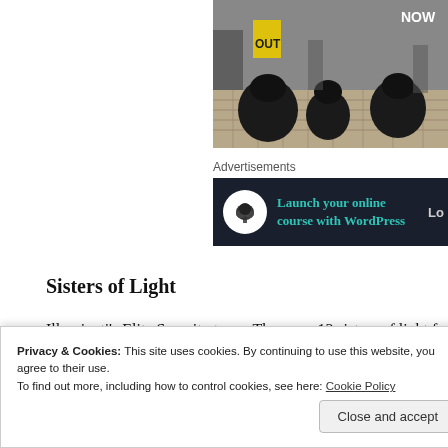[Figure (photo): Protest scene showing dark draped figures on cobblestone street, with signs visible including text 'OUT' and 'NOW' in background]
Advertisements
[Figure (screenshot): Advertisement banner with dark background showing bonsai tree icon and text 'Launch your online course with WordPress' in teal color]
Sisters of Light
Illuminati's Elite Security team. There are 13 sisters of light for
Privacy & Cookies: This site uses cookies. By continuing to use this website, you agree to their use.
To find out more, including how to control cookies, see here: Cookie Policy
Close and accept